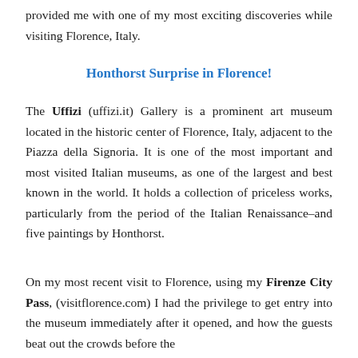provided me with one of my most exciting discoveries while visiting Florence, Italy.
Honthorst Surprise in Florence!
The Uffizi (uffizi.it) Gallery is a prominent art museum located in the historic center of Florence, Italy, adjacent to the Piazza della Signoria. It is one of the most important and most visited Italian museums, as one of the largest and best known in the world. It holds a collection of priceless works, particularly from the period of the Italian Renaissance–and five paintings by Honthorst.
On my most recent visit to Florence, using my Firenze City Pass, (visitflorence.com) I had the privilege to get entry into the museum immediately after it opened, and how the guests beat out the crowds before the...